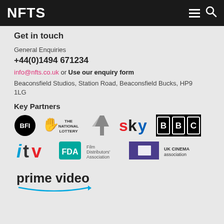NFTS
Get in touch
General Enquiries
+44(0)1494 671234
info@nfts.co.uk or Use our enquiry form
Beaconsfield Studios, Station Road, Beaconsfield Bucks, HP9 1LG
Key Partners
[Figure (logo): Partner logos row 1: BFI, The National Lottery, Channel 4, Sky, BBC]
[Figure (logo): Partner logos row 2: ITV, Film Distributors' Association (FDA), UK Cinema Association]
[Figure (logo): Partner logos row 3: Prime Video (Amazon)]